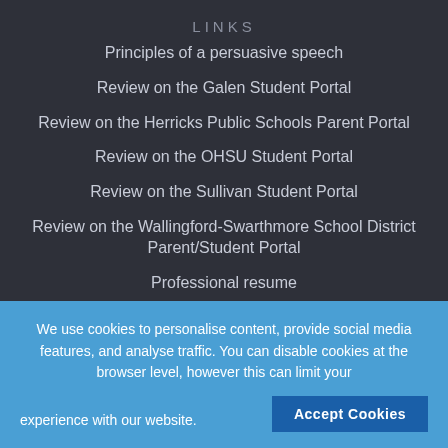LINKS
Principles of a persuasive speech
Review on the Galen Student Portal
Review on the Herricks Public Schools Parent Portal
Review on the OHSU Student Portal
Review on the Sullivan Student Portal
Review on the Wallingford-Swarthmore School District Parent/Student Portal
Professional resume
We use cookies to personalise content, provide social media features, and analyse traffic. You can disable cookies at the browser level, however this can limit your experience with our website.
Accept Cookies